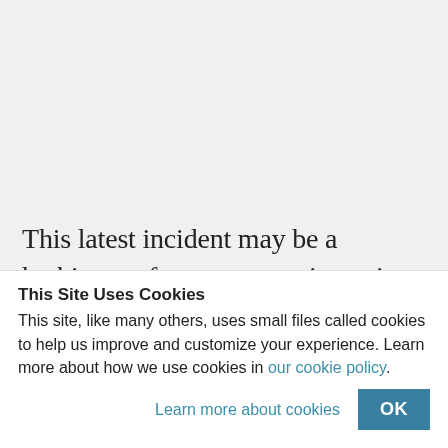This latest incident may be a harbinger of a new strategic era in the Levant. The F-16
This Site Uses Cookies
This site, like many others, uses small files called cookies to help us improve and customize your experience. Learn more about how we use cookies in our cookie policy.
Learn more about cookies
OK